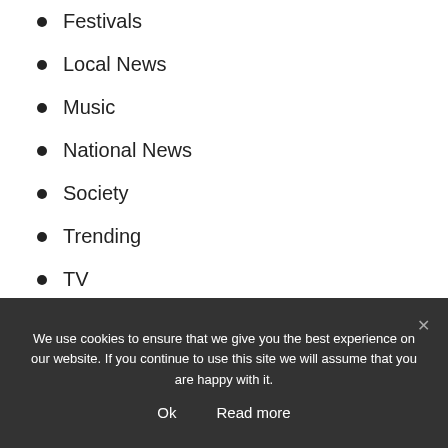Festivals
Local News
Music
National News
Society
Trending
TV
We use cookies to ensure that we give you the best experience on our website. If you continue to use this site we will assume that you are happy with it.
Ok
Read more